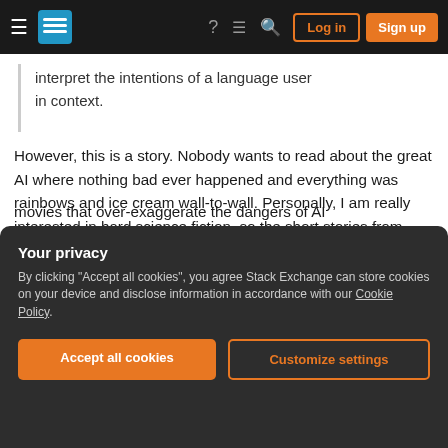Stack Exchange navigation bar with hamburger menu, logo, help, chat, search icons, and Log in / Sign up buttons
interpret the intentions of a language user in context.
However, this is a story. Nobody wants to read about the great AI where nothing bad ever happened and everything was rainbows and ice cream wall-to-wall. Personally, I am really interested in hard science fiction, so the short stories from Isaac Asimov's "I, Robot" come to mind where he points out the fundamental flaws in the three laws of robotics. A Michael Crichton thriller also comes to
movies that over-exaggerate the dangers of AI
Your privacy
By clicking "Accept all cookies", you agree Stack Exchange can store cookies on your device and disclose information in accordance with our Cookie Policy.
Accept all cookies
Customize settings